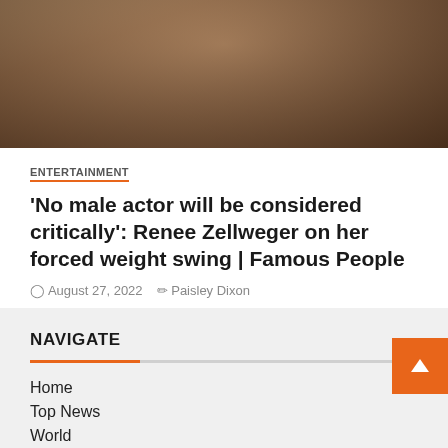[Figure (photo): Cropped photo of a blonde woman, partially visible from the shoulders up, dark background]
ENTERTAINMENT
'No male actor will be considered critically': Renee Zellweger on her forced weight swing | Famous People
August 27, 2022   Paisley Dixon
NAVIGATE
Home
Top News
World